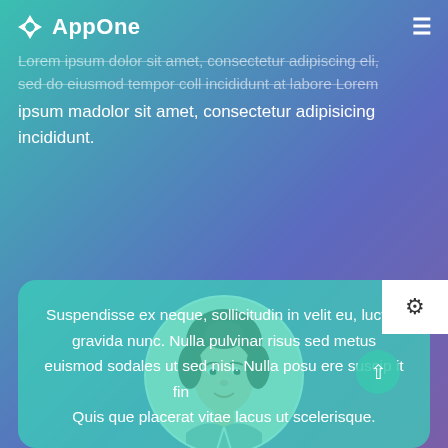AppOne
Lorem ipsum dolor sit amet, consectetur adipiscing elit, sed do eiusmod tempor coll incididunt at labore Lorem ipsum madolor sit amet, consectetur adipisicing incididunt.
[Figure (photo): Circular portrait photo of a smiling young woman with dark hair pulled back, wearing a collared shirt]
Suspendisse ex neque, sollicitudin in velit eu, luctus gravida nunc. Nulla pulvinar risus sed metus euismod sodales ut sed nisi. Nulla posu ere suscip it fin Quis que placerat vitae lacus ut scelerisque.